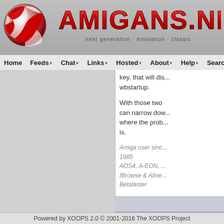[Figure (logo): Amigans.net website header with checkered red/white sphere logo and red metallic AMIGANS.NET text, subtitle: next generation · emulation · classic]
Home  Feeds  Chat  Links  Hosted  About  Help  Search
key. that will dis... wbstartup.
With those two can narrow dow... where the prob... is.
Amiga user since 1985
AOS4, A-EON, ...
IBrowse & Aline...
Betatester
Ps. I hate the ne... amigans websit... <shudder>
P
Re: Stuck on
Powered by XOOPS 2.0 © 2001-2016 The XOOPS Project